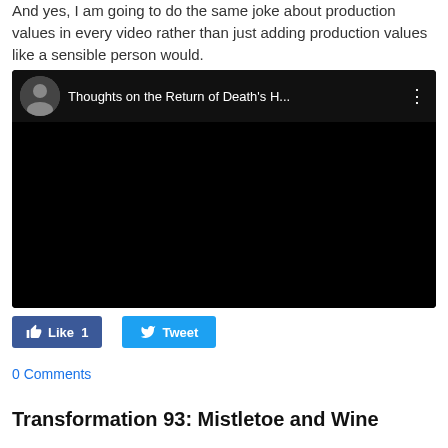And yes, I am going to do the same joke about production values in every video rather than just adding production values like a sensible person would.
[Figure (screenshot): Embedded YouTube-style video player with black screen. Header shows avatar thumbnail and title 'Thoughts on the Return of Death's H...' with a three-dot menu icon.]
Like 1   Tweet
0 Comments
Transformation 93: Mistletoe and Wine